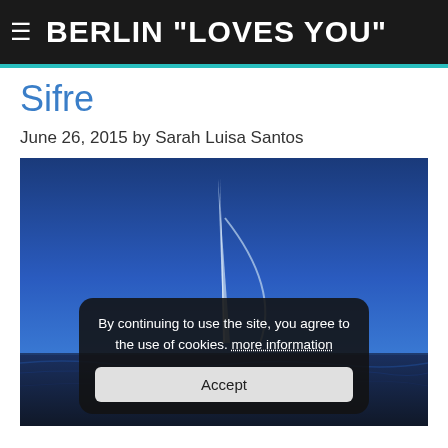BERLIN "LOVES YOU"
Sifre
June 26, 2015 by Sarah Luisa Santos
[Figure (photo): A dramatic photo of a sail or sharp architectural spire rising from dark blue ocean water against a deep blue sky, with a cookie consent overlay popup in the foreground.]